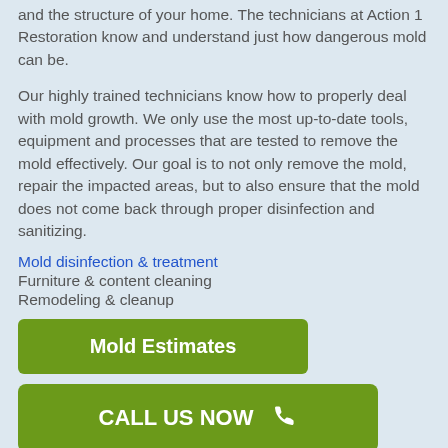and the structure of your home. The technicians at Action 1 Restoration know and understand just how dangerous mold can be.
Our highly trained technicians know how to properly deal with mold growth. We only use the most up-to-date tools, equipment and processes that are tested to remove the mold effectively. Our goal is to not only remove the mold, repair the impacted areas, but to also ensure that the mold does not come back through proper disinfection and sanitizing.
Mold disinfection & treatment
Furniture & content cleaning
Remodeling & cleanup
[Figure (other): Green button labeled 'Mold Estimates']
[Figure (other): Green button labeled 'CALL US NOW' with phone icon]
Emergency Sewage Backup